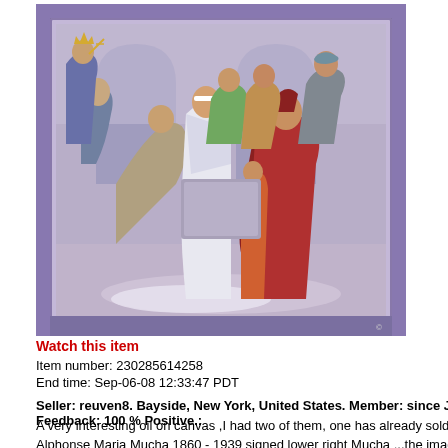[Figure (illustration): Oil painting in an ornate purple/blue frame depicting a religious or historical scene with multiple figures. A central figure in white robes stands before a figure in red robes. Other figures including one in blue robes and one wearing a crown are present. The scene appears to be a medieval or Renaissance-style composition.]
Watch this item
Item number: 230285614258
End time: Sep-06-08 12:33:47 PDT
Seller: reuven8. Bayside, New York, United States. Member: since Jun-13-99 in Un Feedback: 100 % Positive.:
A very interesting oil on canvas ,I had two of them, one has already sold on E-bay.The p Alphonse Maria Mucha 1860 - 1939 signed lower right Mucha ...the image size is 18" x 1 3/4 cm ..it also has a three inch painted border, with its unusual period frame, and proba the painting size is 23 1/2" x 23 1/2". condition is good, some minor touchups It has bee